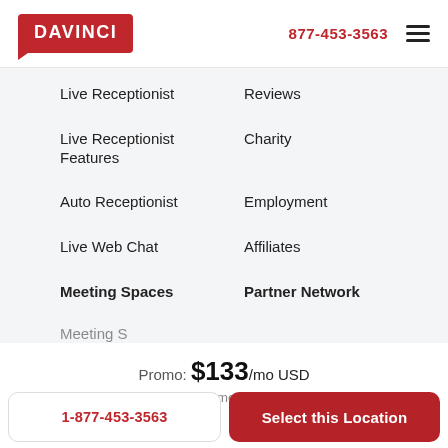DAVINCI  877-453-3563
Live Receptionist
Reviews
Live Receptionist Features
Charity
Auto Receptionist
Employment
Live Web Chat
Affiliates
Meeting Spaces
Partner Network
Promo: $133/mo USD
$199 One-time Setup Fee
1-877-453-3563
Select this Location